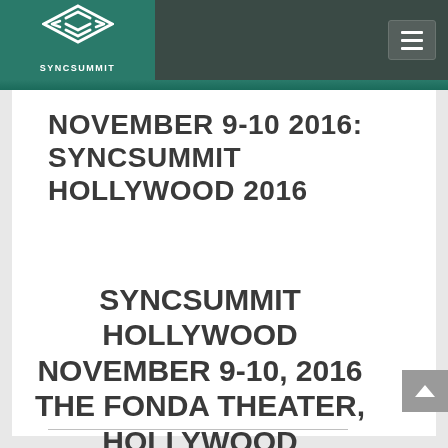[Figure (logo): SyncSummit logo — stylized S/arrows icon in white on teal background, with text SYNCSUMMIT below]
NOVEMBER 9-10 2016: SYNCSUMMIT HOLLYWOOD 2016
SYNCSUMMIT HOLLYWOOD NOVEMBER 9-10, 2016 THE FONDA THEATER, HOLLYWOOD